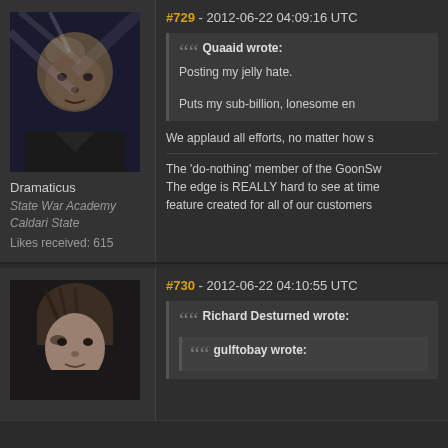#729 - 2012-06-22 04:09:16 UTC
[Figure (illustration): Forum avatar showing a bald male character with dramatic lighting, science fiction style]
Dramaticus
State War Academy
Caldari State
Likes received: 615
Quaaid wrote:
Posting my jelly hate.

Puts my sub-billion, lonesome en...
We applaud all efforts, no matter how s...
The 'do-nothing' member of the GoonSw...
The edge is REALLY hard to see at time...
feature created for all of our customers...
#730 - 2012-06-22 04:10:55 UTC
[Figure (illustration): Forum avatar showing a young male character with brown hair, science fiction style]
Richard Desturned wrote:
  gulftobay wrote: